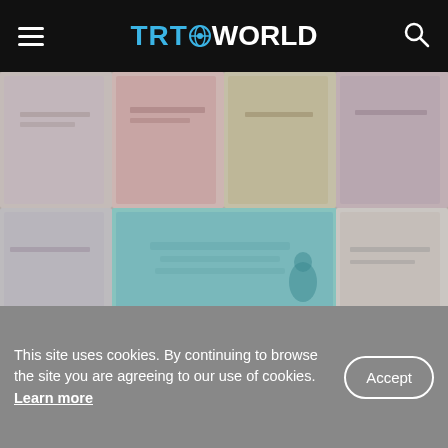TRT WORLD
[Figure (photo): Blurred collage of colorful book covers arranged in a grid, showing various book spines and front covers with muted pastel and teal tones.]
Why book covers matter | Literature | Showcase
This site uses cookies. By continuing to browse the site you are agreeing to our use of cookies. Learn more
Accept